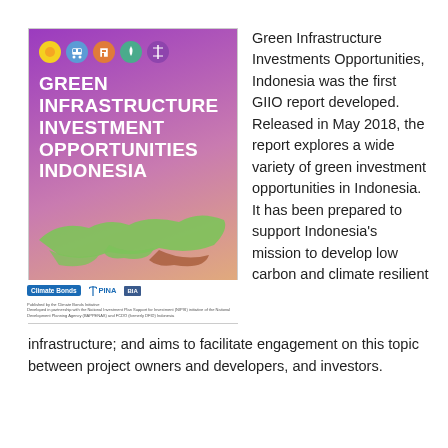[Figure (illustration): Cover of the Green Infrastructure Investment Opportunities Indonesia report, featuring a purple/pink/orange gradient background, five sector icons at the top, bold white title text, and a green map silhouette of Indonesia. Footer shows Climate Bonds, PINA, and BIA logos with small attribution text.]
Green Infrastructure Investments Opportunities, Indonesia was the first GIIO report developed. Released in May 2018, the report explores a wide variety of green investment opportunities in Indonesia. It has been prepared to support Indonesia's mission to develop low carbon and climate resilient infrastructure; and aims to facilitate engagement on this topic between project owners and developers, and investors.